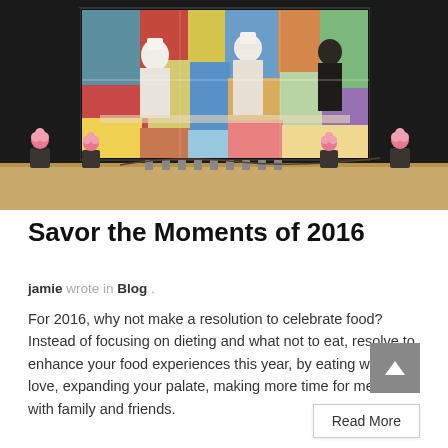[Figure (photo): A large colorful painting displayed on a dark wall showing chefs at work in an abstract style, with small flower arrangements and candles on a wooden ledge in front of it.]
Savor the Moments of 2016
jamie wrote in Blog .
For 2016, why not make a resolution to celebrate food? Instead of focusing on dieting and what not to eat, resolve to enhance your food experiences this year, by eating what you love, expanding your palate, making more time for meals with family and friends.
Read More